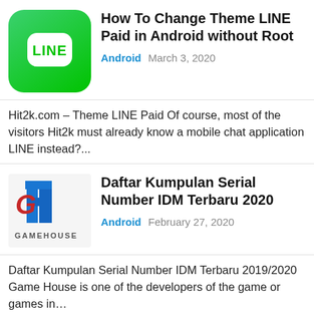[Figure (screenshot): LINE app icon — green rounded square with white LINE chat bubble logo and white text LINE]
How To Change Theme LINE Paid in Android without Root
Android   March 3, 2020
Hit2k.com – Theme LINE Paid Of course, most of the visitors Hit2k must already know a mobile chat application LINE instead?...
[Figure (logo): Game House logo — GH letters with building icon, text GAMEHOUSE below]
Daftar Kumpulan Serial Number IDM Terbaru 2020
Android   February 27, 2020
Daftar Kumpulan Serial Number IDM Terbaru 2019/2020 Game House is one of the developers of the game or games in…
[Figure (logo): TubeMate app icon — dark red background with Tube M logo and fire graphic]
TubeMate 2020 [APK] YouTube Downloader v3 Latest!